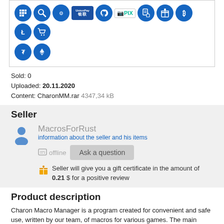[Figure (other): Payment method icons: various cryptocurrency and payment logos including Bitcoin, Ethereum, Steam, UnionPay, GitHub, PIX, gift card, Tether, and others displayed as blue circle icons]
Sold: 0
Uploaded: 20.11.2020
Content: CharonMM.rar 4347,34 kB
Seller
MacrosForRust
information about the seller and his items
offline   Ask a question
Seller will give you a gift certificate in the amount of 0.21 $ for a positive review
Product description
Charon Macro Manager is a program created for convenient and safe use, written by our team, of macros for various games. The main feature of this program is - work on any PC,